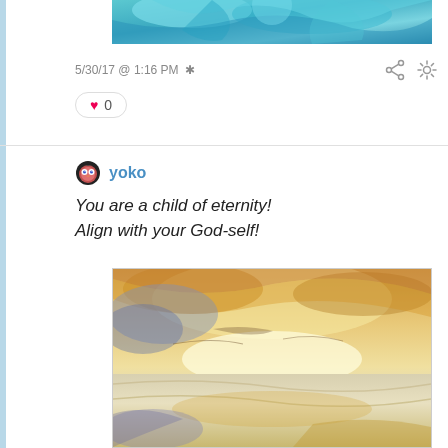[Figure (illustration): Top portion of a post image showing a colorful teal/blue painted art piece, partially visible at the top of the page]
5/30/17 @ 1:16 PM *
♥ 0
yoko
You are a child of eternity!
Align with your God-self!
[Figure (illustration): A painting in the style of J.M.W. Turner showing a golden-hued sunset/sunrise over water with warm yellows, oranges, blues and purples blended in impressionistic style]